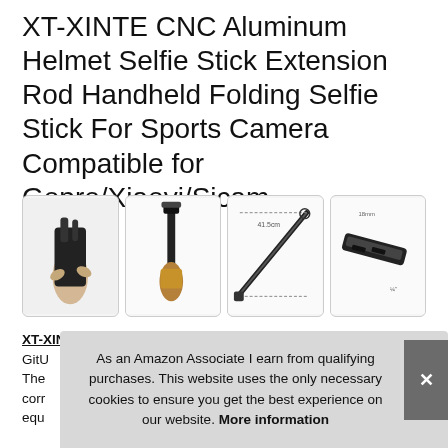XT-XINTE CNC Aluminum Helmet Selfie Stick Extension Rod Handheld Folding Selfie Stick For Sports Camera Compatible for Gopro/Xiaoyi/Sjcam
[Figure (photo): Four product images in a row showing the selfie stick: 1) hand holding folded selfie stick, 2) unfolded selfie stick with camera mount, 3) measurement diagram of the extended rod, 4) close-up detail of the mount mechanism]
XT-XINTE - Compatible for gopro all series / SJcam / yi / GitU The corr equ
As an Amazon Associate I earn from qualifying purchases. This website uses the only necessary cookies to ensure you get the best experience on our website. More information